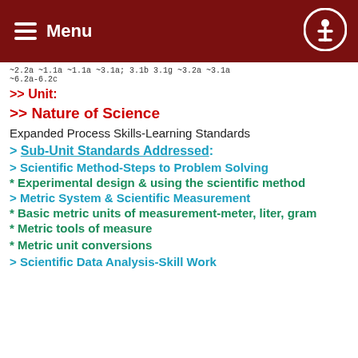Menu
~2.2a ~1.1a ~1.1a ~3.1a; 3.1b 3.1g ~3.2a ~3.1a ~6.2a-6.2c
>> Unit:
>> Nature of Science
Expanded Process Skills-Learning Standards
> Sub-Unit Standards Addressed:
> Scientific Method-Steps to Problem Solving
* Experimental design & using the scientific method
> Metric System & Scientific Measurement
* Basic metric units of measurement-meter, liter, gram
* Metric tools of measure
* Metric unit conversions
> Scientific Data Analysis-Skill Work